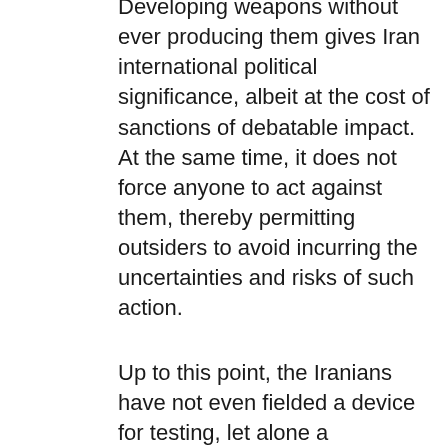Developing weapons without ever producing them gives Iran international political significance, albeit at the cost of sanctions of debatable impact. At the same time, it does not force anyone to act against them, thereby permitting outsiders to avoid incurring the uncertainties and risks of such action.
Up to this point, the Iranians have not even fielded a device for testing, let alone a deliverable weapon. For all their activity, either their technical limitations or a political decision has kept them from actually crossing the obvious redlines and left Israel trying to define some developmental redline.
Iran's approach has created a slowly unfolding crisis, reinforced by Israel's slowly rolling response. For its part, all of Israel's rhetoric -- and periodic threats of imminent attack -- has been going on for several years, but the Israelis have done little beyond some covert and